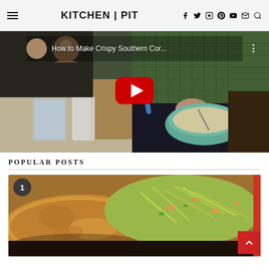KITCHEN | PIT
[Figure (screenshot): YouTube video thumbnail showing a person mixing batter in a bowl with title 'How to Make Crispy Southern Cor...' and a red play button in the center]
POPULAR POSTS
[Figure (photo): Popular post #1 showing a crispy cornbread/pancake with coleslaw on top, with a numbered badge '1' and a red scroll-to-top button in bottom right]